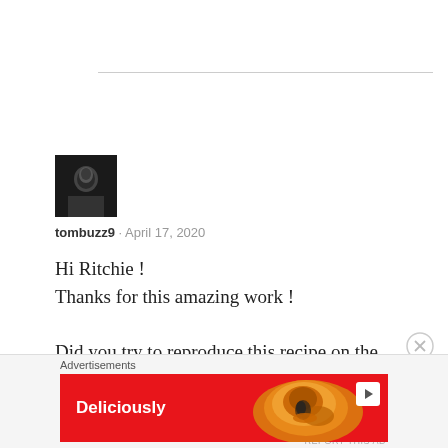[Figure (photo): User avatar thumbnail - small dark portrait photo of a person]
tombuzz9 · April 17, 2020
Hi Ritchie !
Thanks for this amazing work !

Did you try to reproduce this recipe on the X100F ?
Advertisements
[Figure (photo): Advertisement banner with red background, text 'Deliciously', cat image, and play button]